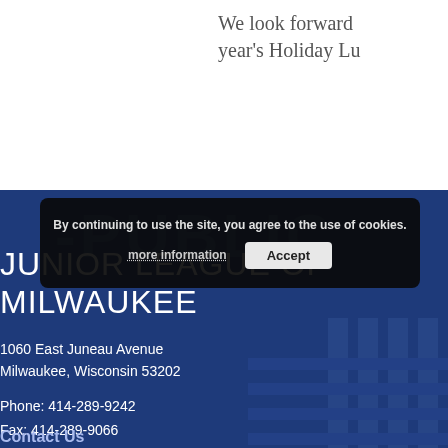We look forward to next year's Holiday Lu
[Figure (photo): Blue-tinted background photo of a building with neon sign reading PUBLIC, overlaid with organization contact information]
JUNIOR LEAGUE OF MILWAUKEE
1060 East Juneau Avenue
Milwaukee, Wisconsin 53202
Phone: 414-289-9242
Fax: 414-289-9066
Contact Us
By continuing to use the site, you agree to the use of cookies.
more information   Accept